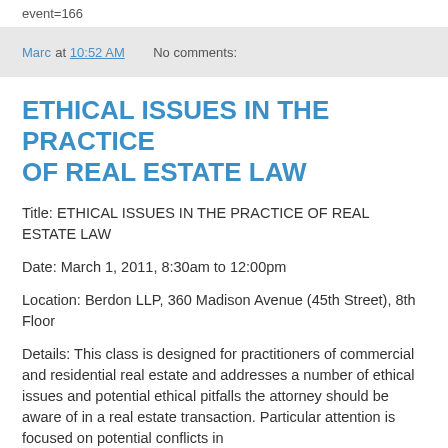event=166
Marc at 10:52 AM    No comments:
ETHICAL ISSUES IN THE PRACTICE OF REAL ESTATE LAW
Title: ETHICAL ISSUES IN THE PRACTICE OF REAL ESTATE LAW
Date: March 1, 2011, 8:30am to 12:00pm
Location: Berdon LLP, 360 Madison Avenue (45th Street), 8th Floor
Details: This class is designed for practitioners of commercial and residential real estate and addresses a number of ethical issues and potential ethical pitfalls the attorney should be aware of in a real estate transaction. Particular attention is focused on potential conflicts in